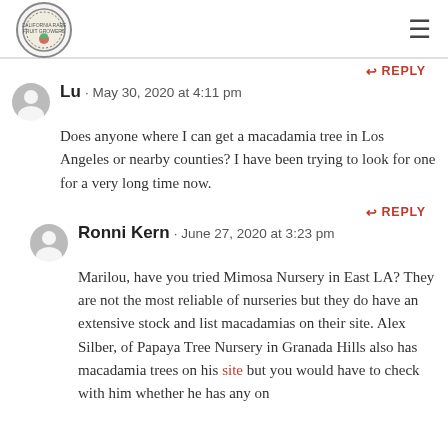California Rare Fruit Growers logo and navigation
↩ REPLY
Lu · May 30, 2020 at 4:11 pm
Does anyone where I can get a macadamia tree in Los Angeles or nearby counties? I have been trying to look for one for a very long time now.
↩ REPLY
Ronni Kern · June 27, 2020 at 3:23 pm
Marilou, have you tried Mimosa Nursery in East LA? They are not the most reliable of nurseries but they do have an extensive stock and list macadamias on their site. Alex Silber, of Papaya Tree Nursery in Granada Hills also has macadamia trees on his site but you would have to check with him whether he has any on